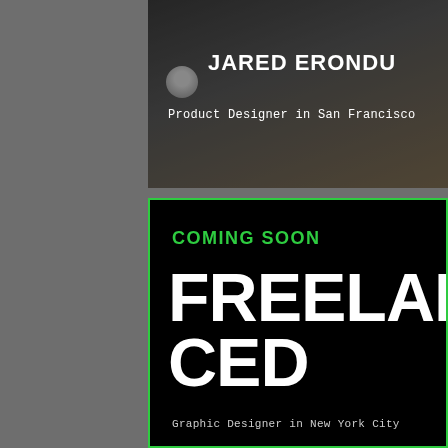[Figure (screenshot): Profile card for Jared Erondu, Product Designer in San Francisco, with dark background photo]
JARED ERONDU
Product Designer in San Francisco
[Figure (screenshot): Coming Soon card for FREELANCED book/product, black background with green border]
COMING SOON
FREELANCED
Graphic Designer in New York City